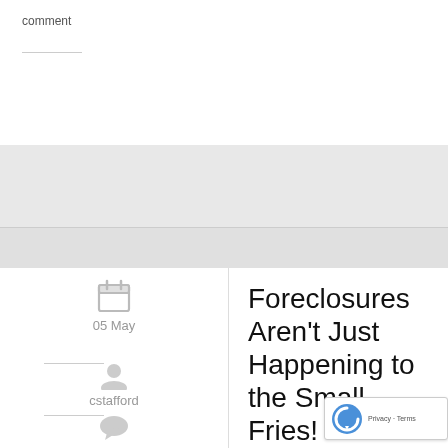comment
Foreclosures Aren't Just Happening to the Small Fries!
[Figure (other): Calendar icon]
05 May
[Figure (other): User/author icon]
cstafford
[Figure (other): Comment bubble icon]
no comment
We have been receiving foreclosed listings on many properties, over 15 of them in the last 3 weeks, but are now surprised to be receiving high-end foreclosed listings. This means that many owners of $1.5 million plus homes are in default and giving them back to the ba… just listed a beautiful 4,000 sq. ft. [...]